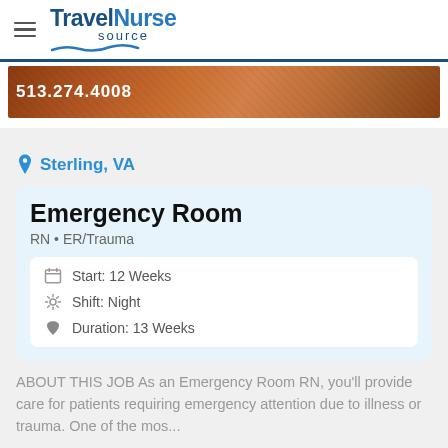TravelNurse source
[Figure (photo): Partial banner image with phone number 513.274.4008 on a colorful background]
Sterling, VA
Emergency Room
RN • ER/Trauma
Start: 12 Weeks
Shift: Night
Duration: 13 Weeks
ABOUT THIS JOB As an Emergency Room RN, you'll provide care for patients requiring emergency attention due to illness or trauma. One of the mos...